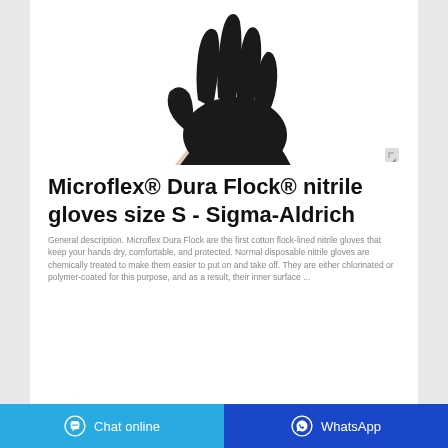[Figure (photo): Black nitrile glove worn on a hand against a white background, showing fingers extended upward]
Microflex® Dura Flock® nitrile gloves size S - Sigma-Aldrich
General description. Microflex Dura Flock are the first cotton flock-lined nitrile gloves that keep your hands dry, comfortable, and protected. Normal disposable nitrile gloves are chemically treated to make them easier to put on and take off. They are either chlorinated or polymer-coated for this purpose, and as a result, their inner surface ...